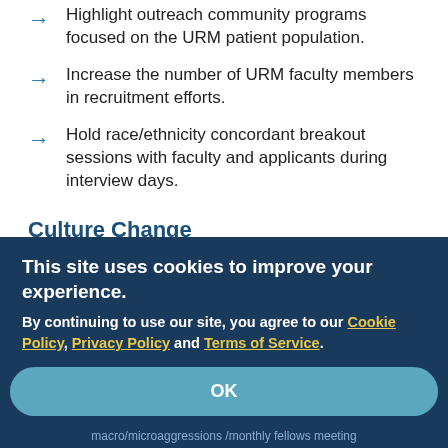Highlight outreach community programs focused on the URM patient population.
Increase the number of URM faculty members in recruitment efforts.
Hold race/ethnicity concordant breakout sessions with faculty and applicants during interview days.
Culture Change
Hold didactics/grand rounds/journal clubs on structural racism/health disparities/social determinants of health.
This site uses cookies to improve your experience.
By continuing to use our site, you agree to our Cookie Policy, Privacy Policy and Terms of Service.
OK